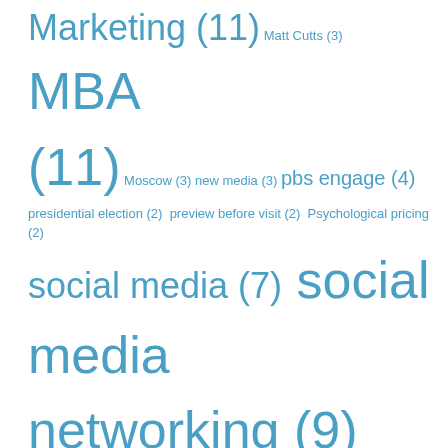Marketing (11) Matt Cutts (3) MBA (11) Moscow (3) new media (3) pbs engage (4) presidential election (2) preview before visit (2) Psychological pricing (2) social media (7) social media networking (9) Social Networking (6) syracuse (3) Twitter (8) United States (8) United States Constitution (2) user-generated content (2) Victory Day (3) wcny (2) wcny digital tv (2) William Walker Atkinson (3) World War II (4) YouTube (4)
Follow me on Twitter
My Tweets
Cool Tech & Gadgets
Sony Cyber-shot DSC-RX10 III 20.2 MP 4K Camera with Slow Motion